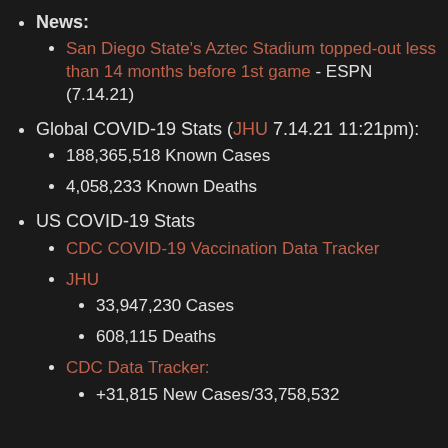News:
San Diego State's Aztec Stadium topped-out less than 14 months before 1st game - ESPN (7.14.21)
Global COVID-19 Stats (JHU 7.14.21 11:21pm):
188,365,518 Known Cases
4,058,233 Known Deaths
US COVID-19 Stats
CDC COVID-19 Vaccination Data Tracker
JHU
33,947,230 Cases
608,115 Deaths
CDC Data Tracker:
+31,815 New Cases/33,758,532